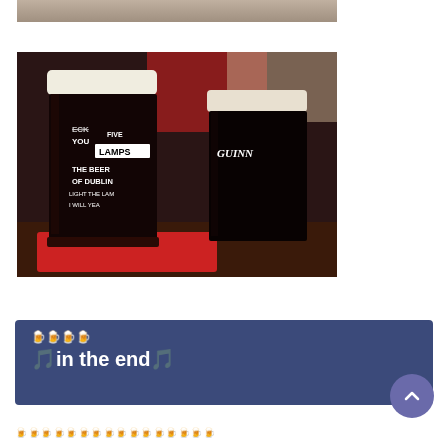[Figure (photo): Partial top of a photo showing dark background, cropped at top of page]
[Figure (photo): Two dark stout beer pints at a bar — left glass labeled 'Five Lamps THE BEER OF DUBLIN LIGHT THE LAMP I WILL YEA...' and right glass labeled 'GUINNESS', both with creamy white heads, sitting on a red coaster/mat on a dark wood bar surface]
🍺🍺🍺🍺
🎵in the end🎵
🍺🍺🍺🍺🍺🍺🍺🍺🍺🍺🍺🍺🍺🍺🍺🍺